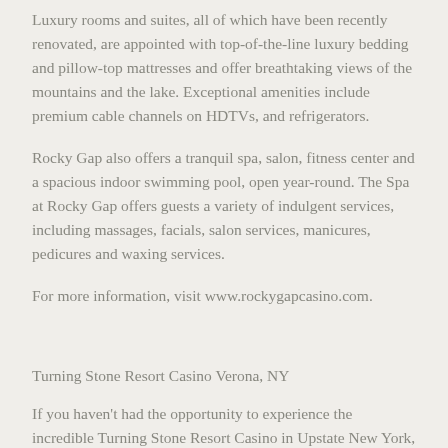Luxury rooms and suites, all of which have been recently renovated, are appointed with top-of-the-line luxury bedding and pillow-top mattresses and offer breathtaking views of the mountains and the lake. Exceptional amenities include premium cable channels on HDTVs, and refrigerators.
Rocky Gap also offers a tranquil spa, salon, fitness center and a spacious indoor swimming pool, open year-round. The Spa at Rocky Gap offers guests a variety of indulgent services, including massages, facials, salon services, manicures, pedicures and waxing services.
For more information, visit www.rockygapcasino.com.
Turning Stone Resort Casino Verona, NY
If you haven't had the opportunity to experience the incredible Turning Stone Resort Casino in Upstate New York, this summer is the perfect time to plan your visit. The only